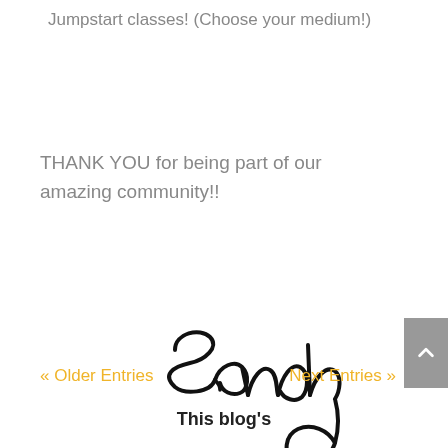Jumpstart classes! (Choose your medium!)
THANK YOU for being part of our amazing community!!
[Figure (illustration): Handwritten cursive signature reading 'Sandy']
« Older Entries
Next Entries »
This blog's